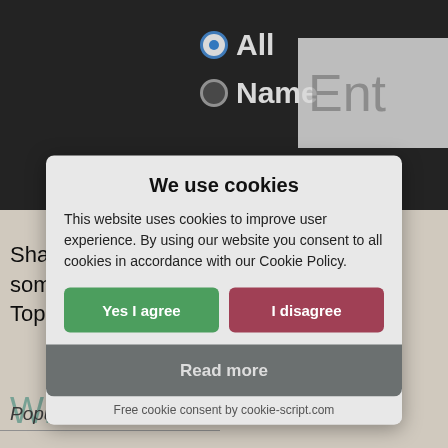All  Name  Ent...
Shaney is an uncommonly occurring somewhat prominent last name for al... Top 78%). (2000 U.S. CENSUS)
Whic...
[Figure (screenshot): Cookie consent modal dialog with title 'We use cookies', body text about cookie policy, 'Yes I agree' green button, 'I disagree' red-pink button, 'Read more' dark button, and 'Free cookie consent by cookie-script.com' footer.]
Popular varying forms of Shaney (uts... Shane, Shanell, Shanelle and Shanit... was more pronounced 27 years ago (h